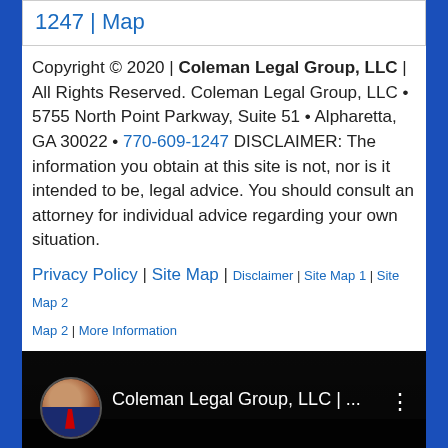1247 | Map
Copyright © 2020 | Coleman Legal Group, LLC | All Rights Reserved. Coleman Legal Group, LLC • 5755 North Point Parkway, Suite 51 • Alpharetta, GA 30022 • 770-609-1247 DISCLAIMER: The information you obtain at this site is not, nor is it intended to be, legal advice. You should consult an attorney for individual advice regarding your own situation.
Privacy Policy | Site Map | Disclaimer | Site Map 1 | Site Map 2 | More Information
[Figure (screenshot): YouTube video embed showing Coleman Legal Group, LLC channel with a man in a suit and tie as the avatar thumbnail, dark background with video controls]